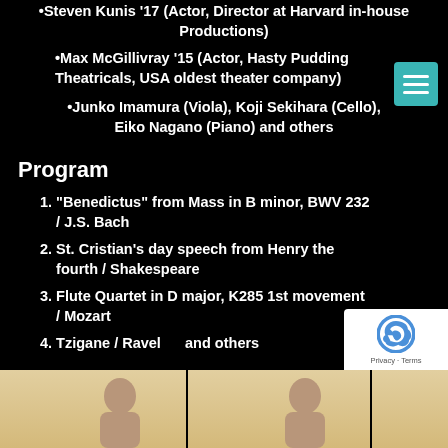•Steven Kunis '17  (Actor, Director at Harvard in-house Productions)
•Max McGillivray '15  (Actor, Hasty Pudding Theatricals, USA oldest theater company)
•Junko Imamura (Viola), Koji Sekihara (Cello), Eiko Nagano (Piano) and others
Program
1. “Benedictus” from Mass in B minor, BWV 232 / J.S. Bach
2. St. Cristian’s day speech from Henry the fourth / Shakespeare
3. Flute Quartet in D major, K285 1st movement / Mozart
4. Tzigane / Ravel      and others
[Figure (photo): Photo strip of performers at the bottom of the page]